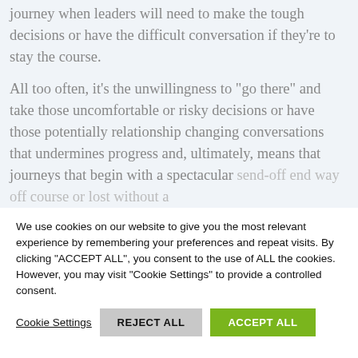journey when leaders will need to make the tough decisions or have the difficult conversation if they're to stay the course.
All too often, it’s the unwillingness to “go there” and take those uncomfortable or risky decisions or have those potentially relationship changing conversations that undermines progress and, ultimately, means that journeys that begin with a spectacular send-off end way off course or lost without a
We use cookies on our website to give you the most relevant experience by remembering your preferences and repeat visits. By clicking “ACCEPT ALL”, you consent to the use of ALL the cookies. However, you may visit "Cookie Settings" to provide a controlled consent.
Cookie Settings   REJECT ALL   ACCEPT ALL